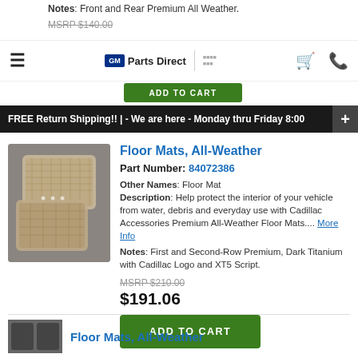Notes: Front and Rear Premium All Weather.
MSRP $140.00
[Figure (logo): GM Parts Direct navigation bar with hamburger menu, logo, cart and phone icons]
[Figure (other): Green ADD TO CART button (partially visible)]
FREE Return Shipping!! | - We are here - Monday thru Friday 8:00
Floor Mats, All-Weather
Part Number: 84072386
[Figure (photo): Tan/beige all-weather floor mats shown stacked on grey background]
Other Names: Floor Mat
Description: Help protect the interior of your vehicle from water, debris and everyday use with Cadillac Accessories Premium All-Weather Floor Mats.... More Info
Notes: First and Second-Row Premium, Dark Titanium with Cadillac Logo and XT5 Script.
MSRP $210.00
$191.06
ADD TO CART
Floor Mats, All-Weather